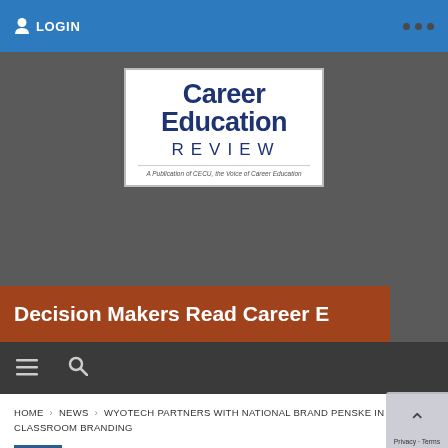LOGIN
[Figure (logo): Career Education Review logo — blue bold text 'Career Education' above 'REVIEW' in spaced letters, with tagline 'A Publication of CECU, the Voice of Career Education']
Decision Makers Read Career E
HOME › NEWS › WYOTECH PARTNERS WITH NATIONAL BRAND PENSKE IN CLASSROOM BRANDING
NEWS  April 20, 2022  Jenny